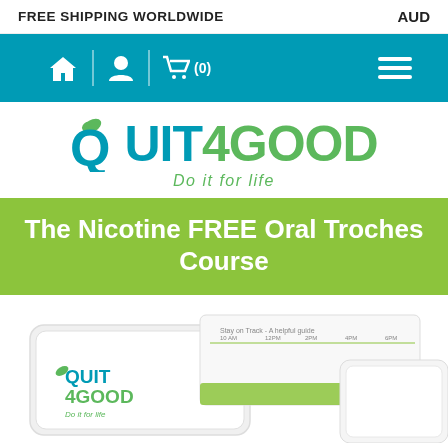FREE SHIPPING WORLDWIDE   AUD
[Figure (screenshot): Navigation bar with teal background showing home icon, user icon, shopping cart icon with (0), and hamburger menu icon]
[Figure (logo): Quit4Good logo with teal and green colors, leaf icon on Q, tagline 'Do it for life']
The Nicotine FREE Oral Troches Course
[Figure (photo): Product packaging photo showing Quit4Good branded oral troches packaging with logo and a scheduling guide card]